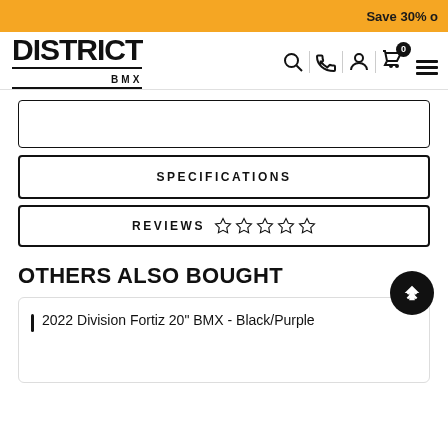Save 30% o
[Figure (logo): District BMX logo — bold black text DISTRICT with BMX underneath]
SPECIFICATIONS
REVIEWS ☆☆☆☆☆
OTHERS ALSO BOUGHT
2022 Division Fortiz 20" BMX - Black/Purple